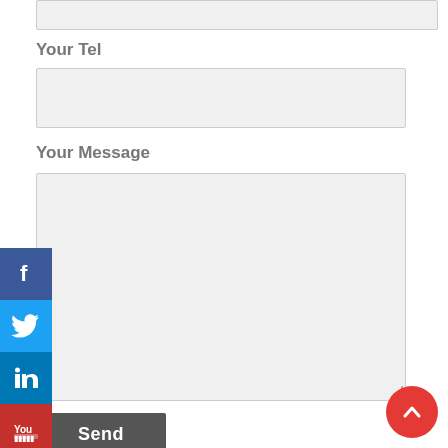Your Tel
Your Message
Send
[Figure (screenshot): Social media share icons on the left side: Facebook (blue), Twitter (light blue), LinkedIn (dark blue), YouTube (red), Instagram (purple)]
[Figure (other): Red circular scroll-to-top button with upward chevron arrow in bottom right corner]